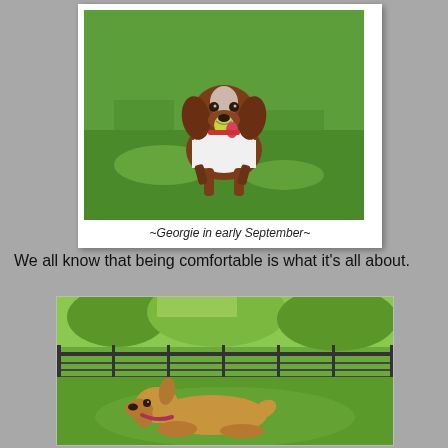[Figure (photo): A brown and white dog wearing a white t-shirt, running on green grass with a tennis ball in its mouth, coming toward the camera.]
~Georgie in early September~
We all know that being comfortable is what it's all about.
[Figure (photo): A tan/golden dog lying comfortably in green grass next to a dark wire fence, with trees visible in the background.]